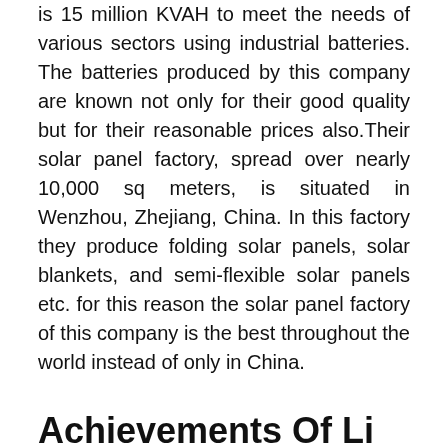is 15 million KVAH to meet the needs of various sectors using industrial batteries. The batteries produced by this company are known not only for their good quality but for their reasonable prices also.Their solar panel factory, spread over nearly 10,000 sq meters, is situated in Wenzhou, Zhejiang, China. In this factory they produce folding solar panels, solar blankets, and semi-flexible solar panels etc. for this reason the solar panel factory of this company is the best throughout the world instead of only in China.
Achievements Of Li Power
On the basis of their long experience in the field of manufacturing power backup products, today Li Power is operating its business in